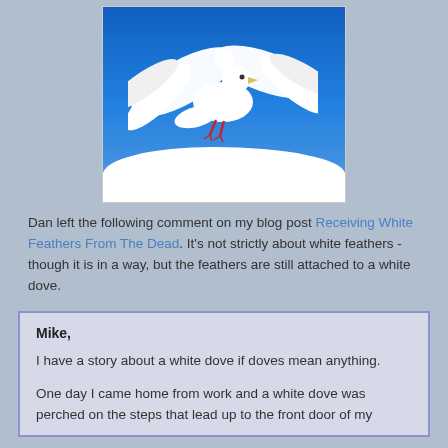[Figure (photo): A white dove with wings spread wide flying against a bright blue sky with white clouds below]
Dan left the following comment on my blog post Receiving White Feathers From The Dead. It's not strictly about white feathers - though it is in a way, but the feathers are still attached to a white dove.
Mike,
I have a story about a white dove if doves mean anything.
One day I came home from work and a white dove was perched on the steps that lead up to the front door of my